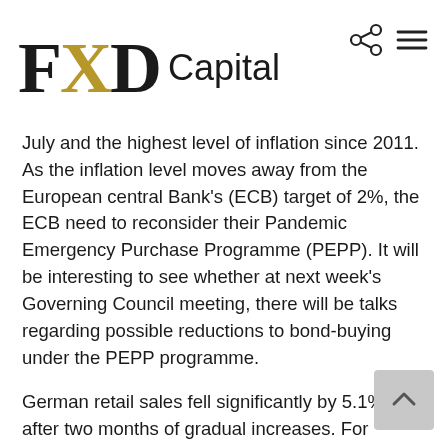FXD Capital
July and the highest level of inflation since 2011. As the inflation level moves away from the European central Bank's (ECB) target of 2%, the ECB need to reconsider their Pandemic Emergency Purchase Programme (PEPP). It will be interesting to see whether at next week's Governing Council meeting, there will be talks regarding possible reductions to bond-buying under the PEPP programme.
German retail sales fell significantly by 5.1% after two months of gradual increases. For Eurozone's largest economy their consumer-driven recovery could impede growth during Q3.
Unemployment levels have continued to decrease as the Eurostat reported the number of people unemployed has decreased to 12.3 million, adjusting